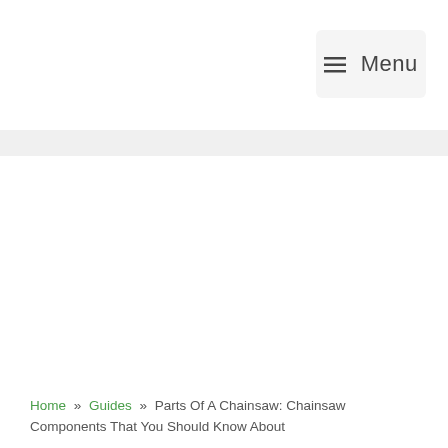Menu
Home » Guides » Parts Of A Chainsaw: Chainsaw Components That You Should Know About